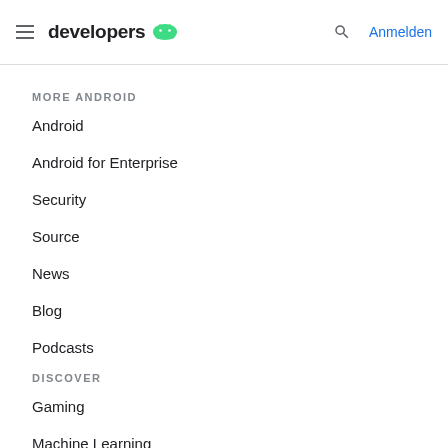developers | Anmelden
MORE ANDROID
Android
Android for Enterprise
Security
Source
News
Blog
Podcasts
DISCOVER
Gaming
Machine Learning